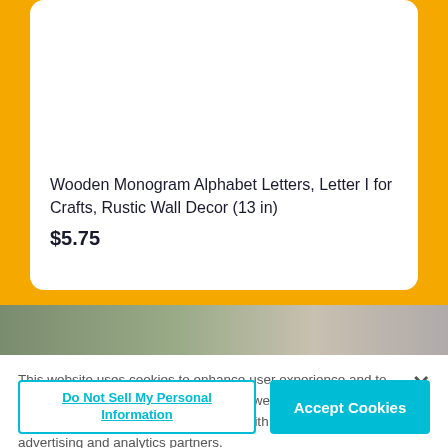[Figure (photo): White product card on orange background showing wooden monogram letter product]
Wooden Monogram Alphabet Letters, Letter I for Crafts, Rustic Wall Decor (13 in)
$5.75
[Figure (photo): Partial image strip showing muted green and beige tones at bottom of orange section]
This website uses cookies to enhance user experience and to analyze performance and traffic on our website. We also share information about your use of our site with our social media, advertising and analytics partners.
Do Not Sell My Personal Information
Accept Cookies